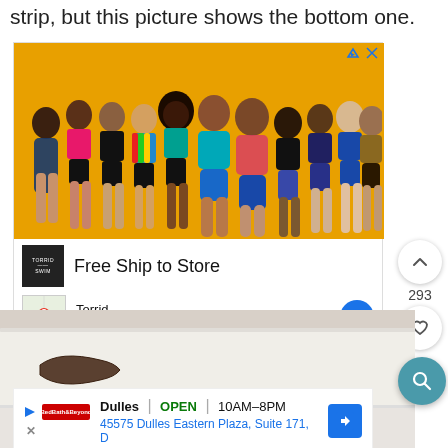strip, but this picture shows the bottom one.
[Figure (photo): Advertisement from Torrid showing diverse women in swimsuits on yellow background, with 'Free Ship to Store' text, Torrid logo, and store info: Dulles 11AM-7PM]
[Figure (photo): Partial photo of white furniture/drawer with metal handle hardware]
Dulles OPEN | 10AM-8PM
45575 Dulles Eastern Plaza, Suite 171, D